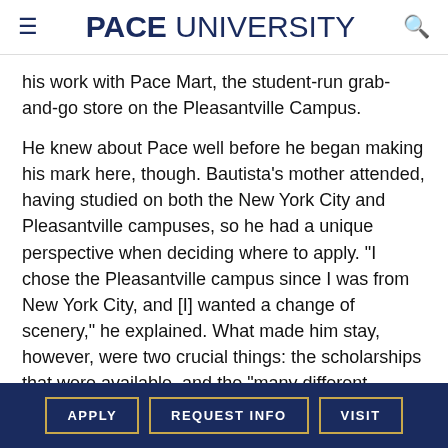PACE UNIVERSITY
his work with Pace Mart, the student-run grab-and-go store on the Pleasantville Campus.
He knew about Pace well before he began making his mark here, though. Bautista's mother attended, having studied on both the New York City and Pleasantville campuses, so he had a unique perspective when deciding where to apply. "I chose the Pleasantville campus since I was from New York City, and [I] wanted a change of scenery," he explained. What made him stay, however, were two crucial things: the scholarships that were available, and the “many different people from different backgrounds [I met] through Pace
APPLY   REQUEST INFO   VISIT